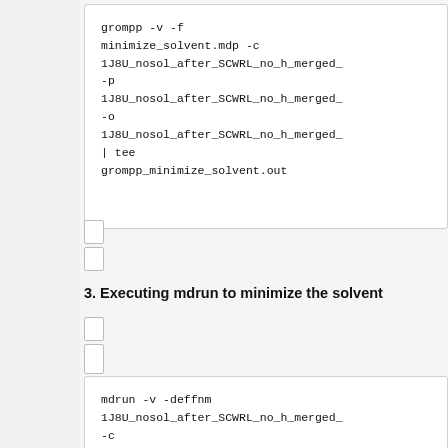[Figure (screenshot): Code block showing grompp command: grompp -v -f minimize_solvent.mdp -c 1J8U_nosol_after_SCWRL_no_h_merged_ -p 1J8U_nosol_after_SCWRL_no_h_merged_ -o 1J8U_nosol_after_SCWRL_no_h_merged_ | tee grompp_minimize_solvent.out]
3. Executing mdrun to minimize the solvent
[Figure (screenshot): Code block showing mdrun command: mdrun -v -deffnm 1J8U_nosol_after_SCWRL_no_h_merged_ -c 1J8U_nosol_after_SCWRL_no_h_merged_ | tee mdrun_minimize_solvent.out]